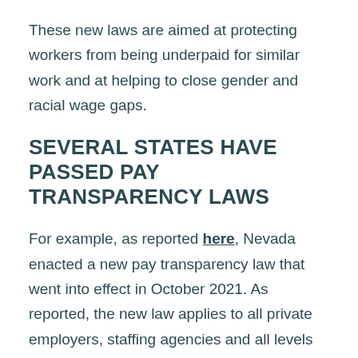These new laws are aimed at protecting workers from being underpaid for similar work and at helping to close gender and racial wage gaps.
SEVERAL STATES HAVE PASSED PAY TRANSPARENCY LAWS
For example, as reported here, Nevada enacted a new pay transparency law that went into effect in October 2021. As reported, the new law applies to all private employers, staffing agencies and all levels of Nevada governmental agencies. The law requires that employers affirmatively notify job applicants of the wage or salary range or rate for the job. As for timing, the disclosures must be made after